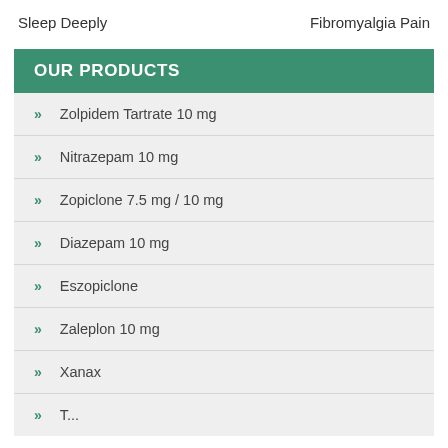Sleep Deeply    Fibromyalgia Pain
OUR PRODUCTS
Zolpidem Tartrate 10 mg
Nitrazepam 10 mg
Zopiclone 7.5 mg / 10 mg
Diazepam 10 mg
Eszopiclone
Zaleplon 10 mg
Xanax
T... 20